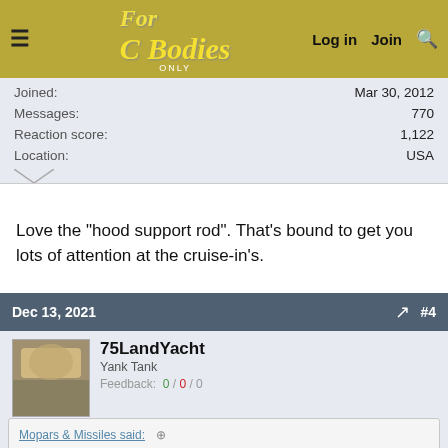For C Bodies Only · Log in · Join · Search
| Field | Value |
| --- | --- |
| Joined: | Mar 30, 2012 |
| Messages: | 770 |
| Reaction score: | 1,122 |
| Location: | USA |
Love the "hood support rod". That's bound to get you lots of attention at the cruise-in's.
Dec 13, 2021 · #4
75LandYacht
Yank Tank
Feedback: 0 / 0 / 0
| Field | Value |
| --- | --- |
| Joined: | Oct 1, 2015 |
| Messages: | 5,780 |
| Reaction score: | 5,999 |
| Location: | Westchester NY |
Mopars & Missiles said: Love the "hood support rod". That's bound to get you lots of attention